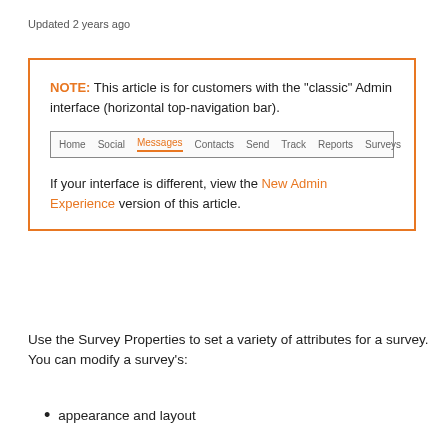Updated 2 years ago
NOTE: This article is for customers with the "classic" Admin interface (horizontal top-navigation bar).
[Figure (screenshot): Navigation bar screenshot showing: Home, Social, Messages (active/orange), Contacts, Send, Track, Reports, Surveys]
If your interface is different, view the New Admin Experience version of this article.
Use the Survey Properties to set a variety of attributes for a survey. You can modify a survey's:
appearance and layout